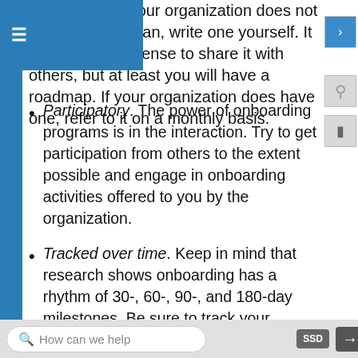ritten down. If your organization does not have a formal plan, write one yourself. It may not make sense to share it with others, but at least you will have a roadmap. If your organization does have one, refer to it on a monthly basis.
Participatory. The power of onboarding programs is in the interaction. Try to get participation from others to the extent possible and engage in onboarding activities offered to you by the organization.
Tracked over time. Keep in mind that research shows onboarding has a rhythm of 30-, 60-, 90-, and 180-day milestones. Be sure to track your progress.
Clear on objectives, timeline, roles, and responsibilities. This will help ensure that role
How can we help